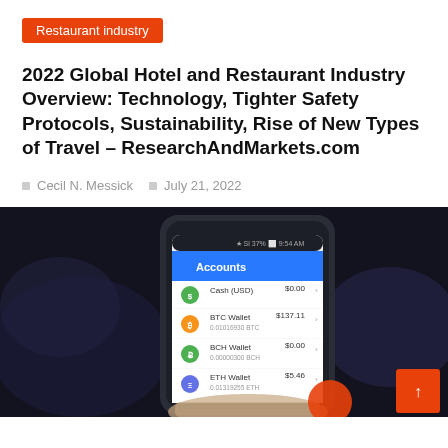Restaurant industry
2022 Global Hotel and Restaurant Industry Overview: Technology, Tighter Safety Protocols, Sustainability, Rise of New Types of Travel – ResearchAndMarkets.com
Cecil N. Messick   July 21, 2022
[Figure (photo): A hand holding a smartphone displaying a cryptocurrency wallet app showing accounts including Cash (USD) $0.00, BTC Wallet $137.11 / 0.01016930 BTC, BCH Wallet $0.00 / 0.00000300 BCH, ETH Wallet $5.46 / 0.01319255 ETH]